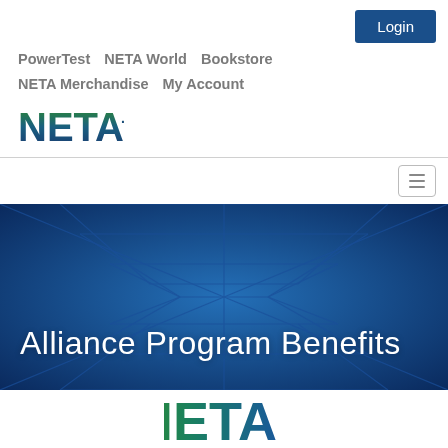[Figure (logo): Login button in dark blue at top right]
PowerTest  NETA World  Bookstore  NETA Merchandise  My Account
[Figure (logo): NETA logo in blue/green gradient text]
[Figure (screenshot): Hamburger menu icon button in top right of navigation bar]
[Figure (photo): Hero banner with electrical tower/pylon viewed from below against blue sky background]
Alliance Program Benefits
[Figure (logo): NETA logo partial at bottom of page]